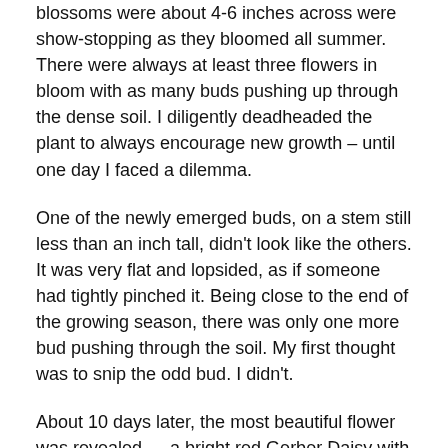blossoms were about 4-6 inches across were show-stopping as they bloomed all summer. There were always at least three flowers in bloom with as many buds pushing up through the dense soil. I diligently deadheaded the plant to always encourage new growth – until one day I faced a dilemma.
One of the newly emerged buds, on a stem still less than an inch tall, didn't look like the others. It was very flat and lopsided, as if someone had tightly pinched it. Being close to the end of the growing season, there was only one more bud pushing through the soil. My first thought was to snip the odd bud. I didn't.
About 10 days later, the most beautiful flower was revealed — a bright red Gerber Daisy with a beautiful, perfect heart center.